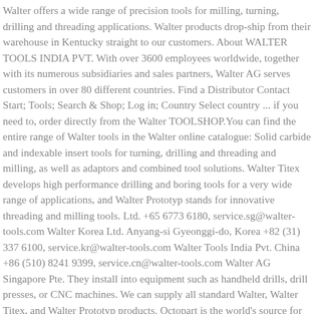Walter offers a wide range of precision tools for milling, turning, drilling and threading applications. Walter products drop-ship from their warehouse in Kentucky straight to our customers. About WALTER TOOLS INDIA PVT. With over 3600 employees worldwide, together with its numerous subsidiaries and sales partners, Walter AG serves customers in over 80 different countries. Find a Distributor Contact Start; Tools; Search & Shop; Log in; Country Select country ... if you need to, order directly from the Walter TOOLSHOP.You can find the entire range of Walter tools in the Walter online catalogue: Solid carbide and indexable insert tools for turning, drilling and threading and milling, as well as adaptors and combined tool solutions. Walter Titex develops high performance drilling and boring tools for a very wide range of applications, and Walter Prototyp stands for innovative threading and milling tools. Ltd. +65 6773 6180, service.sg@walter-tools.com Walter Korea Ltd. Anyang-si Gyeonggi-do, Korea +82 (31) 337 6100, service.kr@walter-tools.com Walter Tools India Pvt. China +86 (510) 8241 9399, service.cn@walter-tools.com Walter AG Singapore Pte. They install into equipment such as handheld drills, drill presses, or CNC machines. We can supply all standard Walter, Walter Titex, and Walter Prototyp products. Octopart is the world's source for TPGA 090208 2K